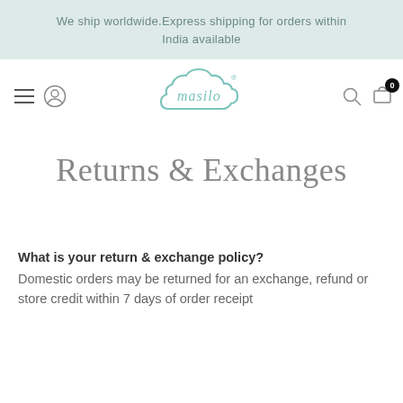We ship worldwide.Express shipping for orders within India available
[Figure (logo): Masilo brand logo — a teal cloud outline with the word 'masilo' written in cursive inside, with a registered trademark symbol]
Returns & Exchanges
What is your return & exchange policy?
Domestic orders may be returned for an exchange, refund or store credit within 7 days of order receipt